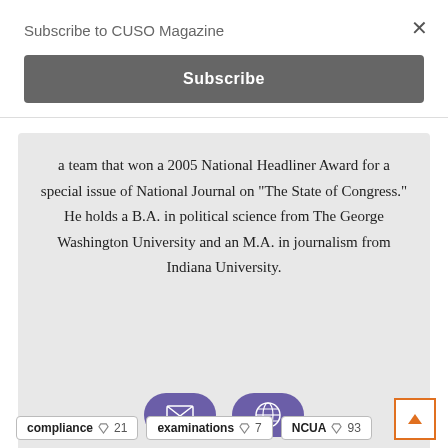Subscribe to CUSO Magazine
Subscribe
a team that won a 2005 National Headliner Award for a special issue of National Journal on "The State of Congress." He holds a B.A. in political science from The George Washington University and an M.A. in journalism from Indiana University.
[Figure (infographic): Two purple rounded buttons with icons: an envelope (email) icon and a globe (web) icon]
compliance  21
examinations  7
NCUA  93